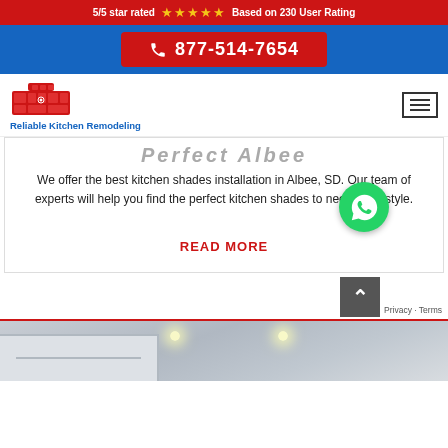5/5 star rated ★★★★★ Based on 230 User Rating
877-514-7654
[Figure (logo): Reliable Kitchen Remodeling logo with red kitchen cabinet icon and blue text]
Perfect Albee
We offer the best kitchen shades installation in Albee, SD. Our team of experts will help you find the perfect kitchen shades to needs and style.
READ MORE
[Figure (photo): Kitchen interior photo showing white cabinets and ceiling lights]